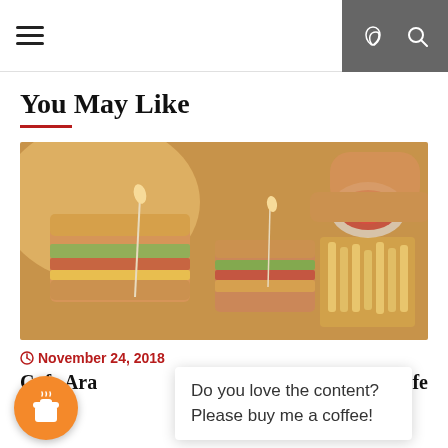Navigation bar with hamburger menu and dark mode / search icons
You May Like
[Figure (photo): Close-up photo of club sandwiches with toothpick skewers, french fries, and a small bowl of ketchup on a wooden board]
November 24, 2018
Cafe Ara … d Cafe
Do you love the content? Please buy me a coffee!
[Figure (illustration): Orange circular coffee cup button (buy me a coffee widget)]